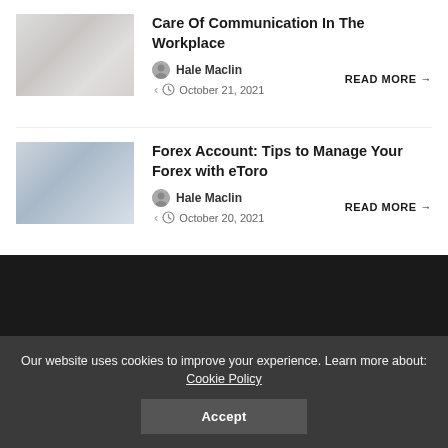[Figure (photo): Thumbnail image of office/workplace communication setting, faded/muted colors]
Care Of Communication In The Workplace
Hale Maclin
October 21, 2021
READ MORE →
[Figure (photo): Thumbnail image of person at computer screens showing trading/forex charts, muted blue tones]
Forex Account: Tips to Manage Your Forex with eToro
Hale Maclin
October 20, 2021
READ MORE →
Let us help
Our website uses cookies to improve your experience. Learn more about: Cookie Policy
Accept